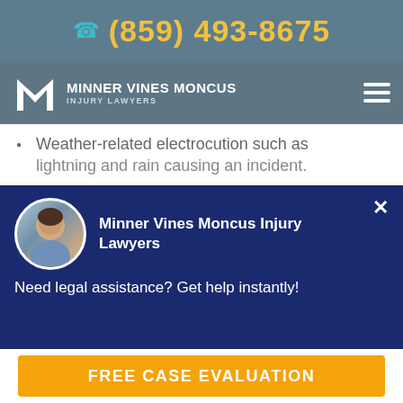(859) 493-8675
[Figure (logo): Minner Vines Moncus Injury Lawyers logo with M icon and firm name]
Weather-related electrocution such as lightning and rain causing an incident.
Missing ground-fault protection.
Lack of proper safety training or equipment training.
Unsafe work conditions and practices.
Negligence when using electrical equipment
Minner Vines Moncus Injury Lawyers
Need legal assistance? Get help instantly!
FREE CASE EVALUATION